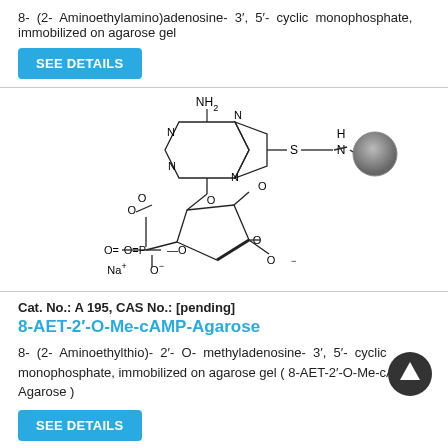8- (2- Aminoethylamino)adenosine- 3′, 5′- cyclic monophosphate, immobilized on agarose gel
SEE DETAILS
[Figure (engineering-diagram): Chemical structure diagram of 8-AET-2'-O-Me-cAMP-Agarose showing a purine adenosine base with NH2 group, connected via sulfur-ethylamine linker to an agarose bead, with ribose sugar bearing a cyclic phosphate and O-methyl group, and Na+ O- counter ion.]
Cat. No.: A 195, CAS No.: [pending]
8-AET-2'-O-Me-cAMP-Agarose
8- (2- Aminoethylthio)- 2′- O- methyladenosine- 3′, 5′- cyclic monophosphate, immobilized on agarose gel ( 8-AET-2′-O-Me-cAMP-Agarose )
SEE DETAILS